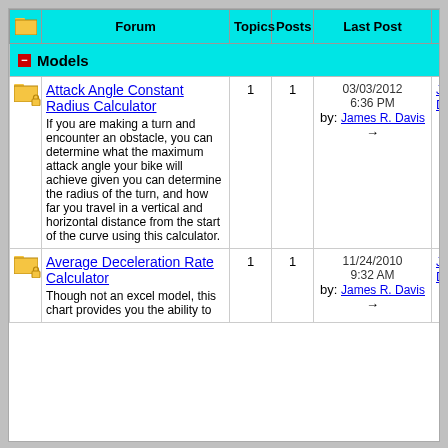|  | Forum | Topics | Posts | Last Post | Moderator(s) |  |
| --- | --- | --- | --- | --- | --- | --- |
| [Models section header] |  |  |  |  |  |  |
| [icon] | Attack Angle Constant Radius Calculator - If you are making a turn and encounter an obstacle, you can determine what the maximum attack angle your bike will achieve given you can determine the radius of the turn, and how far you travel in a vertical and horizontal distance from the start of the curve using this calculator. | 1 | 1 | 03/03/2012 6:36 PM by: James R. Davis → | James R. Davis |  |
| [icon] | Average Deceleration Rate Calculator - Though not an excel model, this chart provides you the ability to... | 1 | 1 | 11/24/2010 9:32 AM by: James R. Davis → | James R. Davis |  |